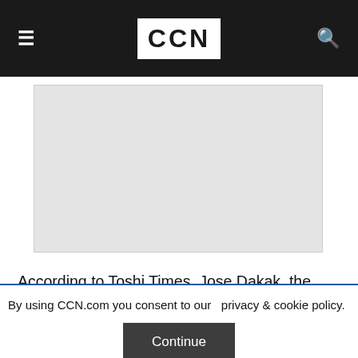CCN
[Figure (other): Gray advertisement placeholder box]
According to Toshi Times, Jose Dakak, the principal shareholder of Argentinian bank Banco Masventas, has stated that the bank will drop out of the global financial network SWIFT and begin utilizing the Bitcoin blockchain network to settle
By using CCN.com you consent to our  privacy & cookie policy.
Continue